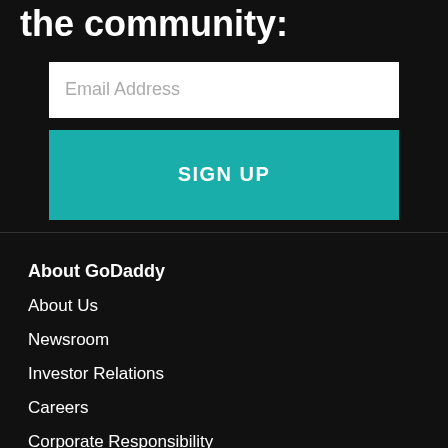the community:
[Figure (other): Email Address input field (white rectangle with placeholder text)]
[Figure (other): SIGN UP button (teal/turquoise rectangle with bold white text)]
About GoDaddy
About Us
Newsroom
Investor Relations
Careers
Corporate Responsibility